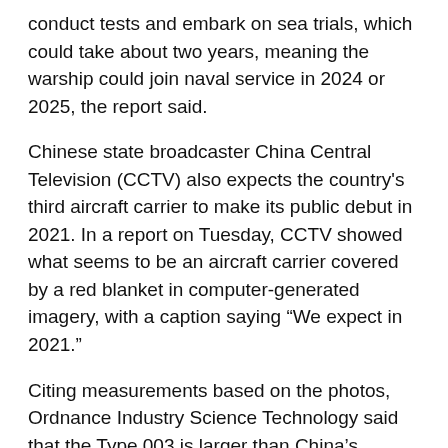conduct tests and embark on sea trials, which could take about two years, meaning the warship could join naval service in 2024 or 2025, the report said.
Chinese state broadcaster China Central Television (CCTV) also expects the country's third aircraft carrier to make its public debut in 2021. In a report on Tuesday, CCTV showed what seems to be an aircraft carrier covered by a red blanket in computer-generated imagery, with a caption saying “We expect in 2021.”
Citing measurements based on the photos, Ordnance Industry Science Technology said that the Type 003 is larger than China’s second aircraft carrier, the Shandong, and boasts a similar size to the US’ Kitty Hawk-class, displacing more than 80,000 tons. Some other foreign reports predicted an even larger displacement of 100,000 tons.